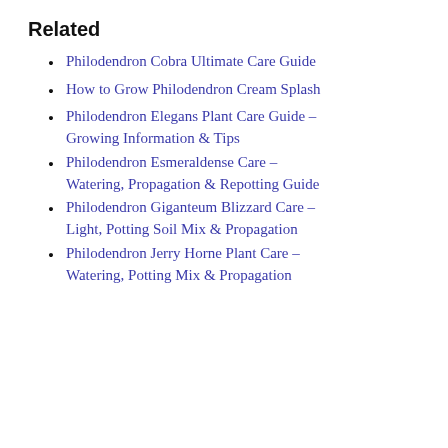Related
Philodendron Cobra Ultimate Care Guide
How to Grow Philodendron Cream Splash
Philodendron Elegans Plant Care Guide – Growing Information & Tips
Philodendron Esmeraldense Care – Watering, Propagation & Repotting Guide
Philodendron Giganteum Blizzard Care – Light, Potting Soil Mix & Propagation
Philodendron Jerry Horne Plant Care – Watering, Potting Mix & Propagation